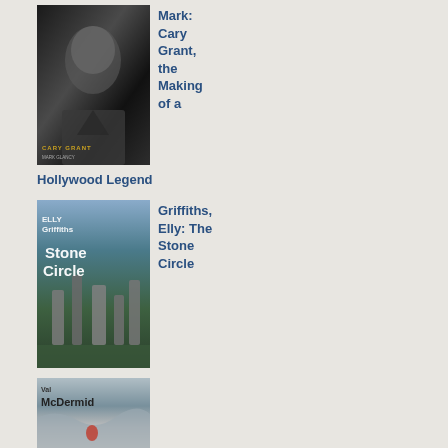[Figure (photo): Book cover of 'Cary Grant, the Making of a Hollywood Legend' showing a black and white photo of Cary Grant]
Mark: Cary Grant, the Making of a
Hollywood Legend
[Figure (photo): Book cover of 'The Stone Circle' by Elly Griffiths showing standing stones]
Griffiths, Elly: The Stone Circle
[Figure (photo): Book cover by Val McDermid]
ma
of
the
rev
are
at
odo
wit
my
tho
so
per
I
hav
just
got
it
wro
"Ri
anc
Ch
we
arc